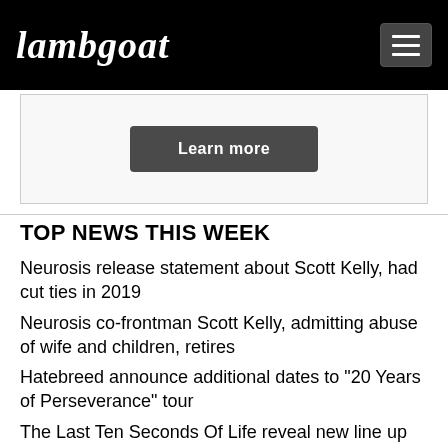Lambgoat
[Figure (other): Learn more button inside a bordered advertisement box]
TOP NEWS THIS WEEK
Neurosis release statement about Scott Kelly, had cut ties in 2019
Neurosis co-frontman Scott Kelly, admitting abuse of wife and children, retires
Hatebreed announce additional dates to "20 Years of Perseverance" tour
The Last Ten Seconds Of Life reveal new line up
BlackBraid releases debut album to stellar reviews, listen here